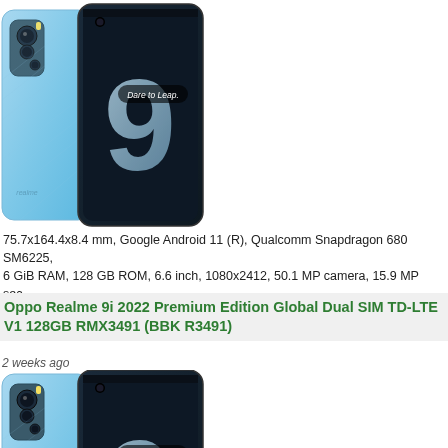[Figure (photo): Realme 9i smartphone shown from the back, light blue color, with triple camera module and 'Dare to Leap' branding visible on the screen side]
75.7x164.4x8.4 mm, Google Android 11 (R), Qualcomm Snapdragon 680 SM6225, 6 GiB RAM, 128 GB ROM, 6.6 inch, 1080x2412, 50.1 MP camera, 15.9 MP sec. cam, 5000 mAh battery | All details | Add to compare
Oppo Realme 9i 2022 Premium Edition Global Dual SIM TD-LTE V1 128GB RMX3491 (BBK R3491)
2 weeks ago
[Figure (photo): Realme 9i 2022 Premium Edition smartphone shown from the back, light blue color, with triple camera module and 'Dare to Leap' branding visible on the screen side]